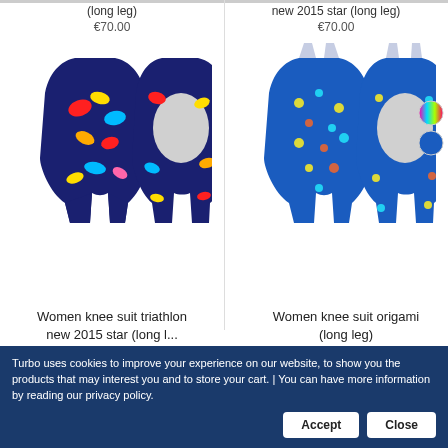(long leg)
€70.00
[Figure (photo): Two views (front and back) of a women knee suit triathlon swimsuit with colorful splatter/star pattern on dark navy background]
new 2015 star (long leg)
€70.00
[Figure (photo): Two views (front and back) of women knee suit origami swimsuit with blue star/dot pattern, with color swatches (multicolor and blue)]
Women knee suit triathlon new 2015 star (long l...
€70.00
Women knee suit origami (long leg)
€70.00
Turbo uses cookies to improve your experience on our website, to show you the products that may interest you and to store your cart. | You can have more information by reading our privacy policy.